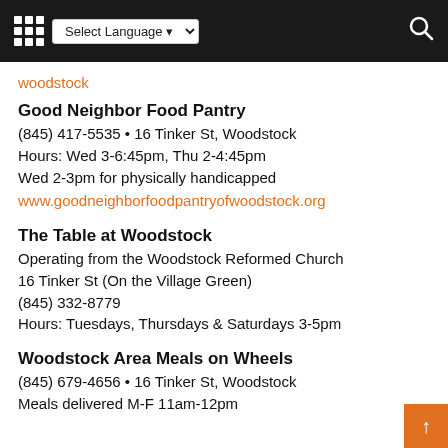Select Language | Search
woodstock
Good Neighbor Food Pantry
(845) 417-5535 • 16 Tinker St, Woodstock
Hours: Wed 3-6:45pm, Thu 2-4:45pm
Wed 2-3pm for physically handicapped
www.goodneighborfoodpantryofwoodstock.org
The Table at Woodstock
Operating from the Woodstock Reformed Church
16 Tinker St (On the Village Green)
(845) 332-8779
Hours: Tuesdays, Thursdays & Saturdays 3-5pm
Woodstock Area Meals on Wheels
(845) 679-4656 • 16 Tinker St, Woodstock
Meals delivered M-F 11am-12pm